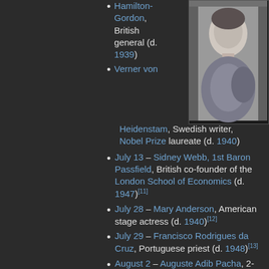Hamilton-Gordon, British general (d. 1939)
Verner von Heidenstam, Swedish writer, Nobel Prize laureate (d. 1940)
[Figure (photo): Black and white photograph of Dora Knowlton Ranous]
Dora Knowlton Ranous
July 13 – Sidney Webb, 1st Baron Passfield, British co-founder of the London School of Economics (d. 1947)[11]
July 28 – Mary Anderson, American stage actress (d. 1940)[12]
July 29 – Francisco Rodrigues da Cruz, Portuguese priest (d. 1948)[13]
August 2 – Auguste Adib Pacha, 2-time prime minister of Lebanon (d.